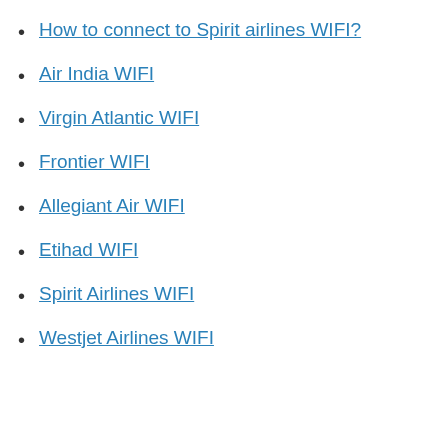How to connect to Spirit airlines WIFI?
Air India WIFI
Virgin Atlantic WIFI
Frontier WIFI
Allegiant Air WIFI
Etihad WIFI
Spirit Airlines WIFI
Westjet Airlines WIFI